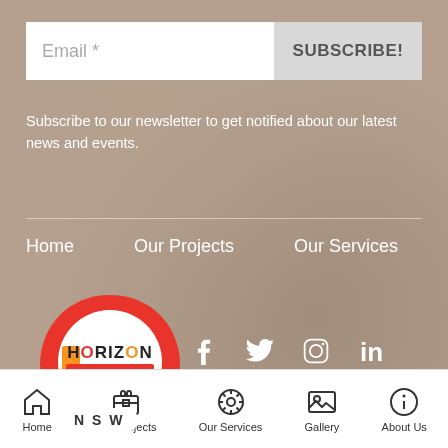Email *
SUBSCRIBE!
Subscribe to our newsletter to get notified about our latest news and events.
Home   Our Projects   Our Services   Gal
[Figure (logo): Horizon Epoxy Floors logo inside a red map pin marker]
[Figure (infographic): Social media icons: Facebook, Twitter, Instagram, LinkedIn]
N S W
[Figure (infographic): Bottom navigation bar with icons: Home, Our Projects, Our Services, Gallery, About Us]